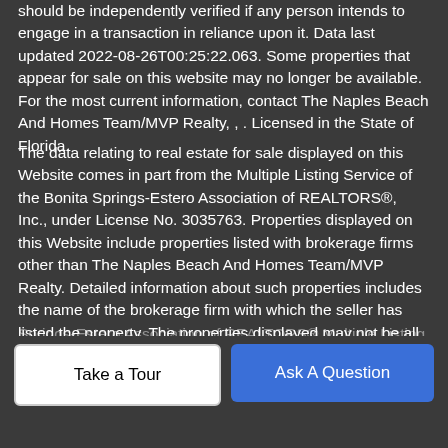should be independently verified if any person intends to engage in a transaction in reliance upon it. Data last updated 2022-08-26T00:25:22.063. Some properties that appear for sale on this website may no longer be available. For the most current information, contact The Naples Beach And Homes Team/MVP Realty, , . Licensed in the State of Florida.
The data relating to real estate for sale displayed on this Website comes in part from the Multiple Listing Service of the Bonita Springs-Estero Association of REALTORS®, Inc., under License No. 3035763. Properties displayed on this Website include properties listed with brokerage firms other than The Naples Beach And Homes Team/MVP Realty. Detailed information about such properties includes the name of the brokerage firm with which the seller has listed the property. The properties displayed may not be all the properties listed with brokerage firms participating in the Bonita Springs-Estero Association of REALTORS® Multiple Listing Service, or contained in the database compilation of the Bonita Springs-Estero Association of REALTORS® Multiple Listing
Take a Tour
Ask A Question